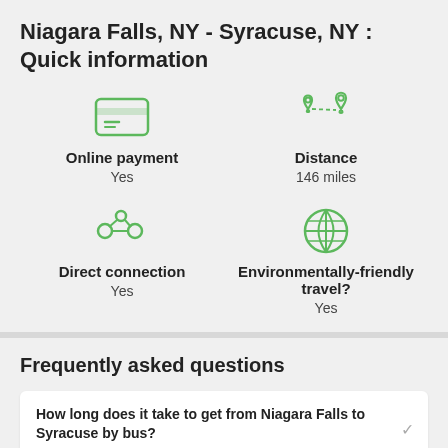Niagara Falls, NY - Syracuse, NY : Quick information
[Figure (infographic): Four info cells: Online payment (Yes), Distance (146 miles), Direct connection (Yes), Environmentally-friendly travel? (Yes), each with a green icon]
Frequently asked questions
How long does it take to get from Niagara Falls to Syracuse by bus?